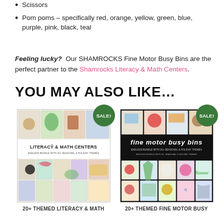Scissors
Pom poms – specifically red, orange, yellow, green, blue, purple, pink, black, teal
Feeling lucky?  Our SHAMROCKS Fine Motor Busy Bins are the perfect partner to the Shamrocks Literacy & Math Centers.
YOU MAY ALSO LIKE...
[Figure (photo): Product image for Literacy & Math Centers Endless Bundle with 20+ Seasonal & Holiday Themes, with SALE! badge]
20+ THEMED LITERACY & MATH
[Figure (photo): Product image for Fine Motor Busy Bins Endless Bundle with 20+ Seasonal & Holiday Themes, with SALE! badge]
20+ THEMED FINE MOTOR BUSY